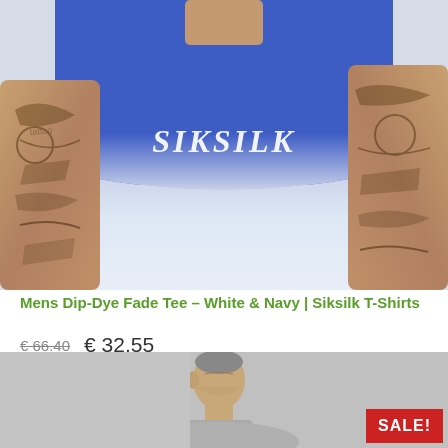[Figure (photo): Photo of a man wearing a SikSilk dip-dye fade t-shirt, blue on top fading to white, with visible tattoos on arms]
Mens Dip-Dye Fade Tee – White & Navy | Siksilk T-Shirts
€ 66.40  € 32.55
[Figure (photo): Partial photo of a man in a grey shirt, with a red SALE! badge in the bottom right corner]